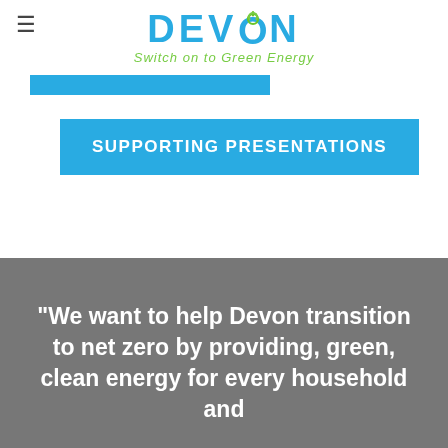[Figure (logo): Devon Energy logo with text 'DEVON' in blue and tagline 'Switch on to Green Energy' in green italic]
SUPPORTING PRESENTATIONS
"We want to help Devon transition to net zero by providing, green, clean energy for every household and